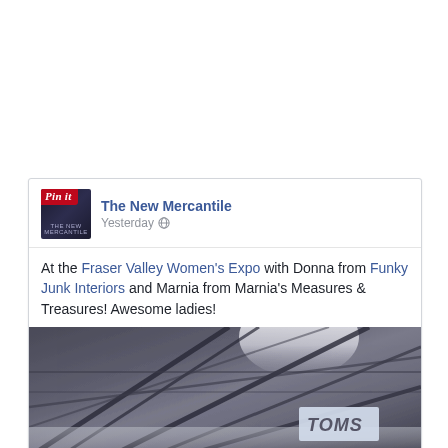[Figure (screenshot): Facebook post screenshot from 'The New Mercantile' page showing a post about attending the Fraser Valley Women's Expo with Donna from Funky Junk Interiors and Marnia from Marnia's Measures & Treasures, with a photo of an expo hall ceiling with steel beams and a TOMS sign visible.]